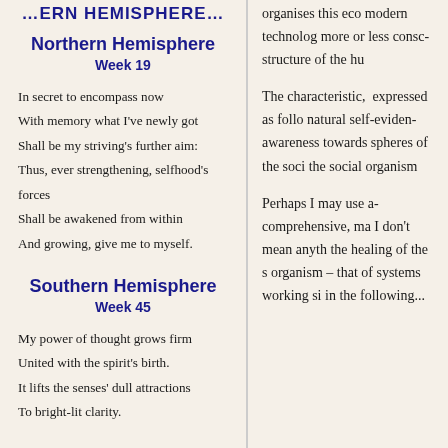Northern Hemisphere
Week 19
In secret to encompass now
With memory what I've newly got
Shall be my striving's further aim:
Thus, ever strengthening, selfhood's forces
Shall be awakened from within
And growing, give me to myself.
Southern Hemisphere
Week 45
My power of thought grows firm
United with the spirit's birth.
It lifts the senses' dull attractions
To bright-lit clarity.
organises this eco... modern technolog... more or less consc... structure of the hu...
The characteristic, ... expressed as follo... natural self-eviden... awareness towards... spheres of the soci... the social organism...
Perhaps I may use a... comprehensive, ma... I don't mean anyth... the healing of the s... organism – that of... systems working si... in the following...